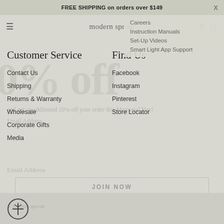FREE SHIPPING on orders over $149
modern sprout
Careers
Instruction Manuals
Set-Up Videos
Smart Light App Support
Customer Service
Find Us
Contact Us
Facebook
Shipping
Instagram
Returns & Warranty
Pinterest
Wholesale
Store Locator
Corporate Gifts
Media
JOIN NOW